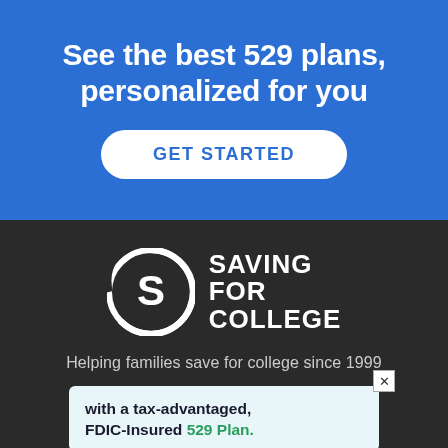See the best 529 plans, personalized for you
GET STARTED
[Figure (logo): Saving for College logo: circular S icon with 'SAVING FOR COLLEGE' wordmark in white on dark background]
Helping families save for college since 1999
with a tax-advantaged, FDIC-Insured 529 Plan.